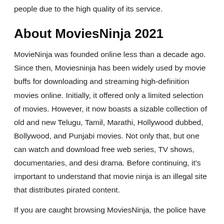people due to the high quality of its service.
About MoviesNinja 2021
MovieNinja was founded online less than a decade ago. Since then, Moviesninja has been widely used by movie buffs for downloading and streaming high-definition movies online. Initially, it offered only a limited selection of movies. However, it now boasts a sizable collection of old and new Telugu, Tamil, Marathi, Hollywood dubbed, Bollywood, and Punjabi movies. Not only that, but one can watch and download free web series, TV shows, documentaries, and desi drama. Before continuing, it's important to understand that movie ninja is an illegal site that distributes pirated content.
If you are caught browsing MoviesNinja, the police have